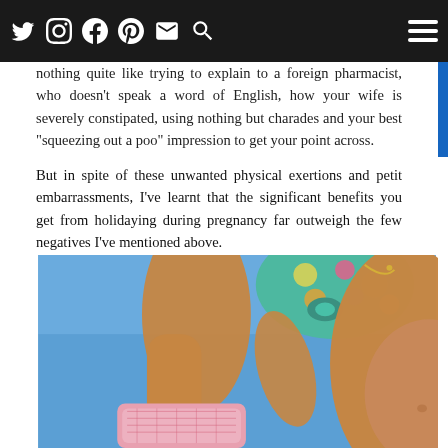Social media icons: Twitter, Instagram, Facebook, Pinterest, Email, Search | Hamburger menu
certainly be forced to visit a local doctor or pharmacist while you're away, to allay your fears. And take it from me, there's nothing quite like trying to explain to a foreign pharmacist, who doesn't speak a word of English, how your wife is severely constipated, using nothing but charades and your best "squeezing out a poo" impression to get your point across.
But in spite of these unwanted physical exertions and petit embarrassments, I've learnt that the significant benefits you get from holidaying during pregnancy far outweigh the few negatives I've mentioned above.
[Figure (photo): A pregnant woman in a floral/colorful bikini top, photographed from below against a blue sky, holding what appears to be a pink patterned cloth or sarong. Her baby bump is visible on the right side of the image.]